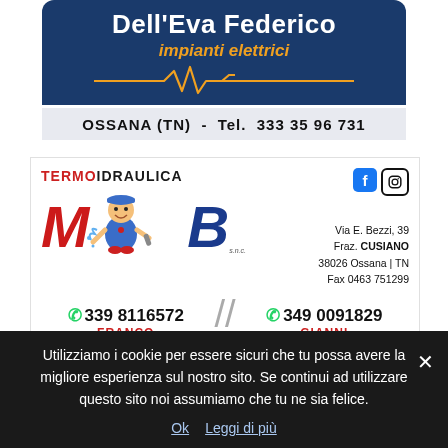[Figure (logo): Dell'Eva Federico impianti elettrici advertisement with dark blue background, company name in white bold text, subtitle in orange italic, ECG/heartbeat line graphic, and contact info: OSSANA (TN) - Tel. 333 35 96 731]
[Figure (logo): Termoidraulica MB snc advertisement with red M and blue B letters, plumber mascot cartoon, social media icons (Facebook, Instagram), address Via E. Bezzi 39, Fraz. CUSIANO, 38026 Ossana TN, Fax 0463 751299, phone numbers 339 8116572 (FRANCO) and 349 0091829 (GIANNI) with WhatsApp icons]
IMPRESA
Utilizziamo i cookie per essere sicuri che tu possa avere la migliore esperienza sul nostro sito. Se continui ad utilizzare questo sito noi assumiamo che tu ne sia felice.
Ok  Leggi di più